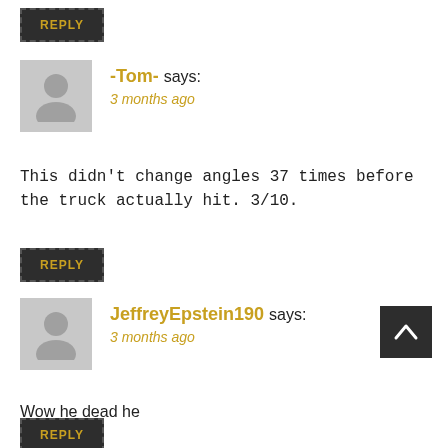REPLY
-Tom- says:
3 months ago
This didn't change angles 37 times before the truck actually hit. 3/10.
REPLY
JeffreyEpstein190 says:
3 months ago
Wow he dead he
REPLY